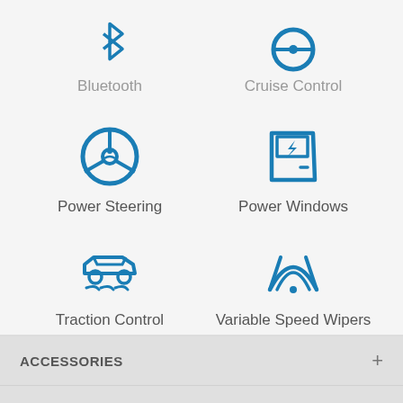[Figure (infographic): Two car feature icons at top (partially visible): Bluetooth label and Cruise Control label with icons cropped at top]
[Figure (infographic): Power Steering icon (steering wheel) and Power Windows icon (car door with window)]
Power Steering
Power Windows
[Figure (infographic): Traction Control icon (car sliding) and Variable Speed Wipers icon (wiper blades)]
Traction Control
Variable Speed Wipers
ACCESSORIES
ENTERTAINMENT
MECHANICAL
EXTERIOR
INTERIOR
SAFETY